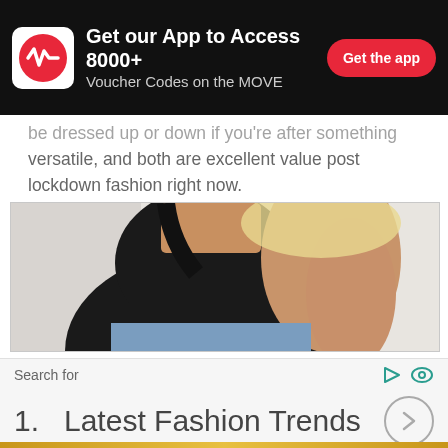Get our App to Access 8000+ Voucher Codes on the MOVE — Get the app
be dressed up or down if you're after something versatile, and both are excellent value post lockdown fashion right now.
[Figure (photo): Woman wearing a black sleeveless racerback bodysuit/top, photographed from torso up against a light grey background, paired with light blue denim jeans.]
Search for
1.  Latest Fashion Trends